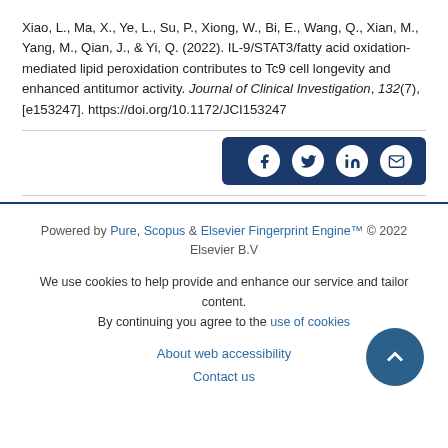Xiao, L., Ma, X., Ye, L., Su, P., Xiong, W., Bi, E., Wang, Q., Xian, M., Yang, M., Qian, J., & Yi, Q. (2022). IL-9/STAT3/fatty acid oxidation-mediated lipid peroxidation contributes to Tc9 cell longevity and enhanced antitumor activity. Journal of Clinical Investigation, 132(7), [e153247]. https://doi.org/10.1172/JCI153247
[Figure (other): Social share bar with icons for share, Facebook, Twitter, LinkedIn, and email on a dark blue background]
Powered by Pure, Scopus & Elsevier Fingerprint Engine™ © 2022 Elsevier B.V
We use cookies to help provide and enhance our service and tailor content. By continuing you agree to the use of cookies
About web accessibility
Contact us